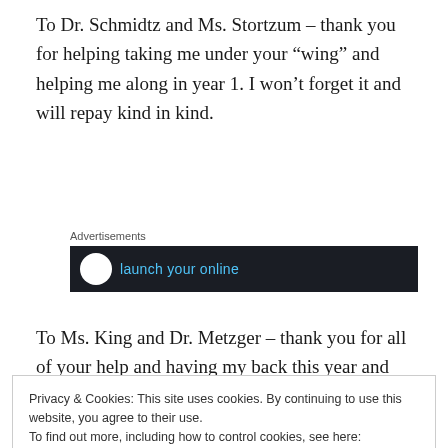To Dr. Schmidtz and Ms. Stortzum – thank you for helping taking me under your “wing” and helping me along in year 1. I won’t forget it and will repay kind in kind.
[Figure (other): Advertisements banner with dark background and partial text 'launch your online']
To Ms. King and Dr. Metzger – thank you for all of your help and having my back this year and
Privacy & Cookies: This site uses cookies. By continuing to use this website, you agree to their use.
To find out more, including how to control cookies, see here: Cookie Policy
[Close and accept]